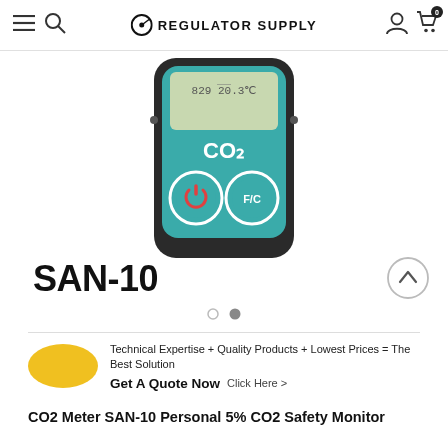Regulator Supply
[Figure (photo): SAN-10 CO2 meter device with teal/dark body, LCD display showing 829 and 20.3, CO2 label, power button and F/C button]
SAN-10
Technical Expertise + Quality Products + Lowest Prices = The Best Solution
Get A Quote Now  Click Here >
CO2 Meter SAN-10 Personal 5% CO2 Safety Monitor